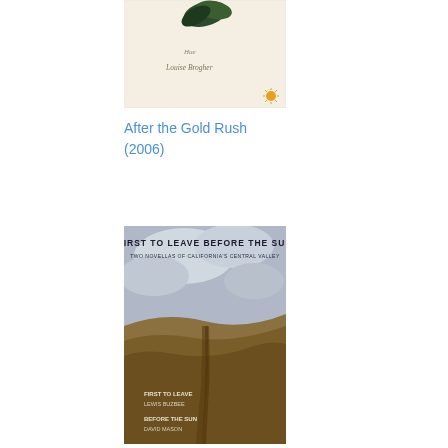[Figure (illustration): Book cover for 'After the Gold Rush' (2006) - cream/off-white background with a plant image and cursive author name 'Louise Brogher', small yellow sunburst at bottom right]
After the Gold Rush
(2006)
[Figure (illustration): Book cover for 'First to Leave Before the Sun - Two Novellas of California's Central Valley' showing a dirt path through an arid landscape under a cloudy sky. Bottom text lists 'FIRST TO LEAVE / LEWIS BUZBEE' and 'BEFORE THE SUN / DAVID MASON']